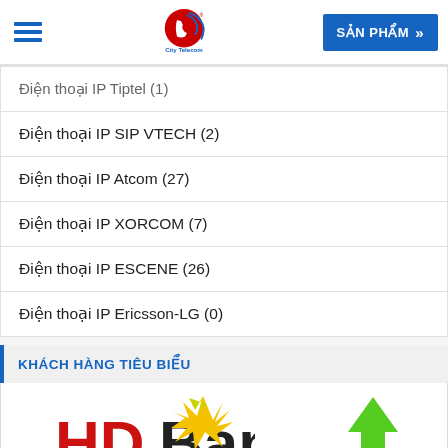City Telecom - SẢN PHẨM
Điện thoại IP Tiptel (1)
Điện thoại IP SIP VTECH (2)
Điện thoại IP Atcom (27)
Điện thoại IP XORCOM (7)
Điện thoại IP ESCENE (26)
Điện thoại IP Ericsson-LG (0)
KHÁCH HÀNG TIÊU BIỂU
[Figure (logo): HDBank logo with yellow/gold bird emblem]